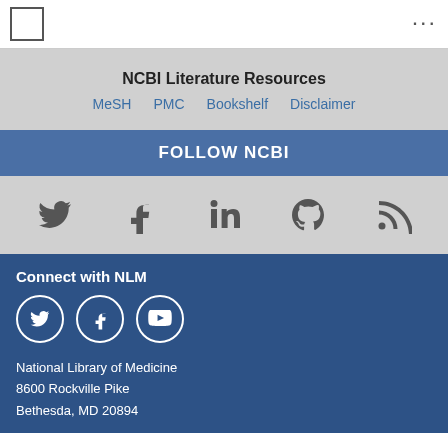NCBI logo | ...
NCBI Literature Resources
MeSH  PMC  Bookshelf  Disclaimer
FOLLOW NCBI
[Figure (infographic): Social media icons: Twitter, Facebook, LinkedIn, GitHub, RSS]
Connect with NLM
[Figure (infographic): NLM social media icons in circles: Twitter, Facebook, YouTube]
National Library of Medicine
8600 Rockville Pike
Bethesda, MD 20894